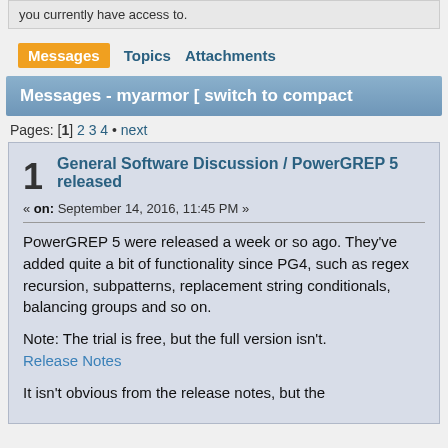you currently have access to.
Messages   Topics   Attachments
Messages - myarmor [ switch to compact
Pages: [1] 2 3 4 • next
General Software Discussion / PowerGREP 5 released
« on: September 14, 2016, 11:45 PM »
PowerGREP 5 were released a week or so ago. They've added quite a bit of functionality since PG4, such as regex recursion, subpatterns, replacement string conditionals, balancing groups and so on.

Note: The trial is free, but the full version isn't.
Release Notes

It isn't obvious from the release notes, but the